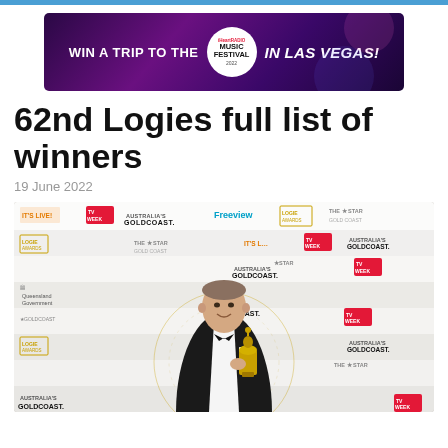[Figure (infographic): Advertisement banner: WIN A TRIP TO THE iHeart Music Festival 2022 IN LAS VEGAS!]
62nd Logies full list of winners
19 June 2022
[Figure (photo): Man in black tuxedo holding a Logie award trophy, standing in front of a step-and-repeat banner with sponsors including TV Week, Gold Coast, Freeview, Logie Awards, The Star Gold Coast, and It's Live.]